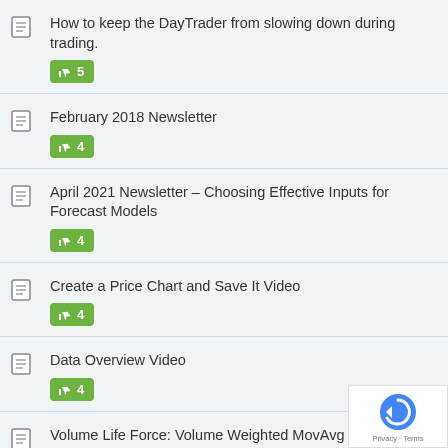How to keep the DayTrader from slowing down during trading. 👍 5
February 2018 Newsletter 👍 4
April 2021 Newsletter – Choosing Effective Inputs for Forecast Models 👍 4
Create a Price Chart and Save It Video 👍 4
Data Overview Video 👍 4
Volume Life Force: Volume Weighted MovAvg Difference 👍 3